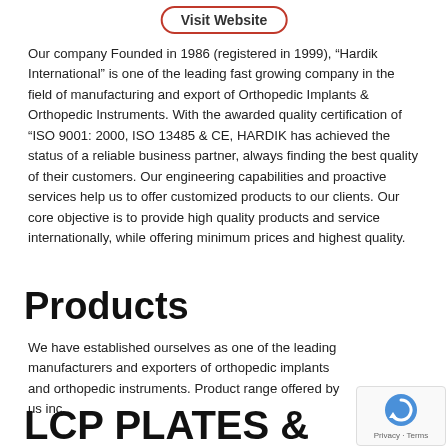[Figure (other): Visit Website button with rounded red border]
Our company Founded in 1986 (registered in 1999), “Hardik International” is one of the leading fast growing company in the field of manufacturing and export of Orthopedic Implants & Orthopedic Instruments. With the awarded quality certification of “ISO 9001: 2000, ISO 13485 & CE, HARDIK has achieved the status of a reliable business partner, always finding the best quality of their customers. Our engineering capabilities and proactive services help us to offer customized products to our clients. Our core objective is to provide high quality products and service internationally, while offering minimum prices and highest quality.
Products
We have established ourselves as one of the leading manufacturers and exporters of orthopedic implants and orthopedic instruments. Product range offered by us inc
LCP PLATES & SCREWS,
[Figure (other): reCAPTCHA widget with blue circular arrow icon and Privacy - Terms text]